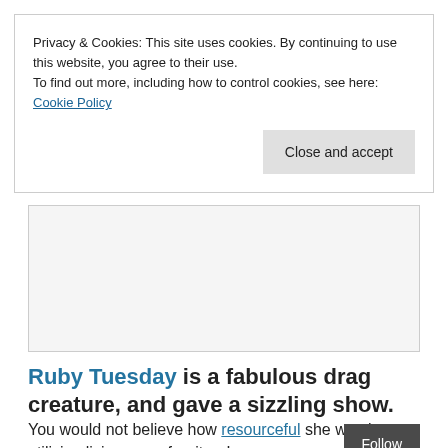Privacy & Cookies: This site uses cookies. By continuing to use this website, you agree to their use.
To find out more, including how to control cookies, see here: Cookie Policy
[Close and accept]
[Figure (other): Empty light grey image/advertising box]
Ruby Tuesday is a fabulous drag creature, and gave a sizzling show.
You would not believe how resourceful she was in utilizing living room furniture!